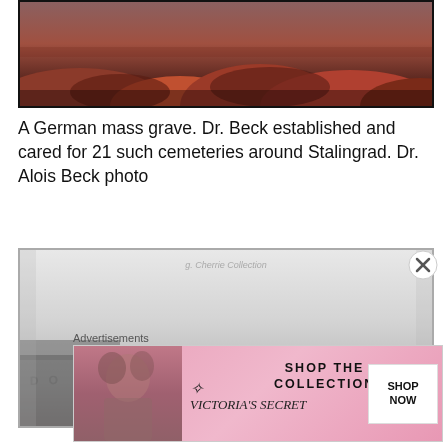[Figure (photo): A German mass grave site with mounds of dark reddish-brown earth, historical sepia/color-tinted photograph]
A German mass grave. Dr. Beck established and cared for 21 such cemeteries around Stalingrad. Dr. Alois Beck photo
[Figure (photo): A black and white historical photograph showing a winter scene with a figure and vehicles, overlaid with watermark text 'DO NOT COPY' and 'g. Cherrie Collection']
Advertisements
[Figure (advertisement): Victoria's Secret advertisement with pink background, woman with curly hair on left, VS logo, text 'SHOP THE COLLECTION', and 'SHOP NOW' button]